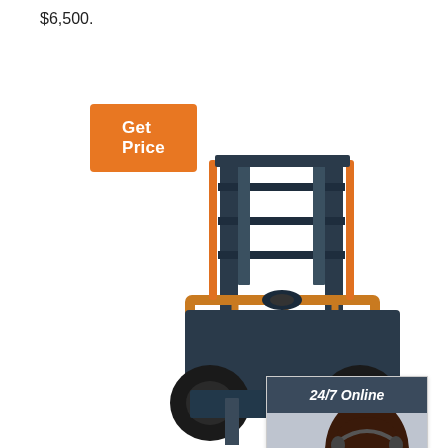$6,500.
Get Price
[Figure (photo): Front-facing industrial forklift with yellow forks and orange frame guard attachment, dark blue mast, on white background]
[Figure (infographic): Customer service chat widget with header '24/7 Online', photo of smiling woman with headset, text 'Click here for free chat!', and orange QUOTATION button]